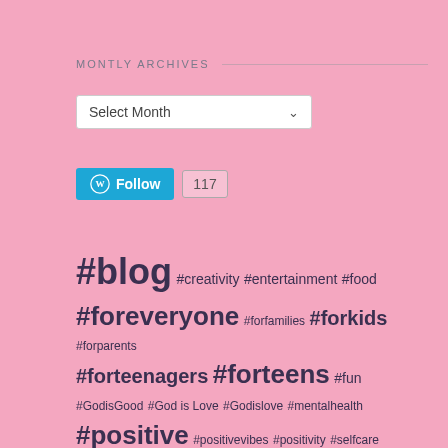MONTLY ARCHIVES
[Figure (screenshot): Dropdown select box labeled 'Select Month' with a chevron arrow]
[Figure (screenshot): WordPress Follow button in teal with W logo and follower count of 117]
#blog #creativity #entertainment #food #foreveryone #forfamilies #forkids #forparents #forteenagers #forteens #fun #GodisGood #God is Love #Godislove #mentalhealth #positive #positivevibes #positivity #selfcare #selflove #teenwriter Christian blog